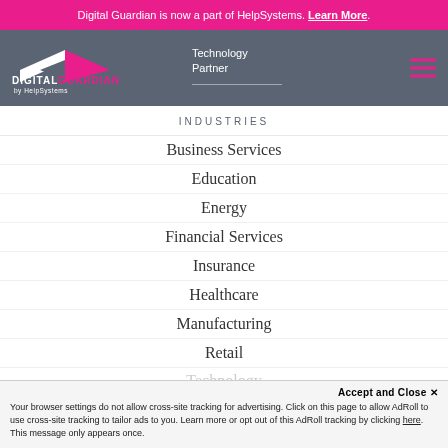Digital Guardian is now a part of HelpSystems. Learn More.
[Figure (logo): Digital Guardian by HelpSystems logo with wing/shield icon in white and pink]
Technology Partner
INDUSTRIES
Business Services
Education
Energy
Financial Services
Insurance
Healthcare
Manufacturing
Retail
Technology
Accept and Close ✕
Your browser settings do not allow cross-site tracking for advertising. Click on this page to allow AdRoll to use cross-site tracking to tailor ads to you. Learn more or opt out of this AdRoll tracking by clicking here. This message only appears once.